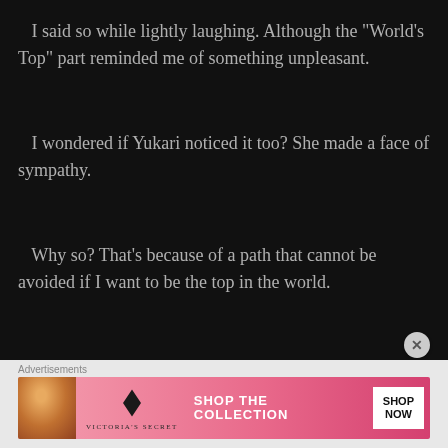I said so while lightly laughing. Although the “World’s Top” part reminded me of something unpleasant.
I wondered if Yukari noticed it too? She made a face of sympathy.
Why so? That’s because of a path that cannot be avoided if I want to be the top in the world.
Advertisements
[Figure (other): Victoria's Secret advertisement banner with a woman model, VS logo, SHOP THE COLLECTION text, and SHOP NOW button]